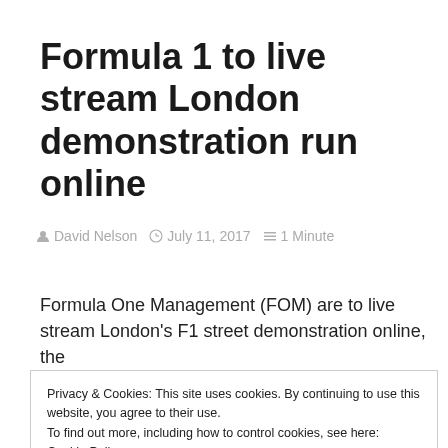Formula 1 to live stream London demonstration run online
David Nelson   July 11, 2017   1 Minute
Formula One Management (FOM) are to live stream London's F1 street demonstration online, the
Privacy & Cookies: This site uses cookies. By continuing to use this website, you agree to their use. To find out more, including how to control cookies, see here: Cookie Policy   Close and accept
which takes place on Wednesday evening (12th July)